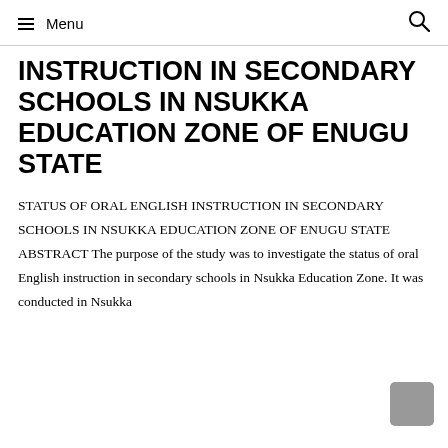Menu
INSTRUCTION IN SECONDARY SCHOOLS IN NSUKKA EDUCATION ZONE OF ENUGU STATE
STATUS OF ORAL ENGLISH INSTRUCTION IN SECONDARY SCHOOLS IN NSUKKA EDUCATION ZONE OF ENUGU STATE ABSTRACT The purpose of the study was to investigate the status of oral English instruction in secondary schools in Nsukka Education Zone. It was conducted in Nsukka